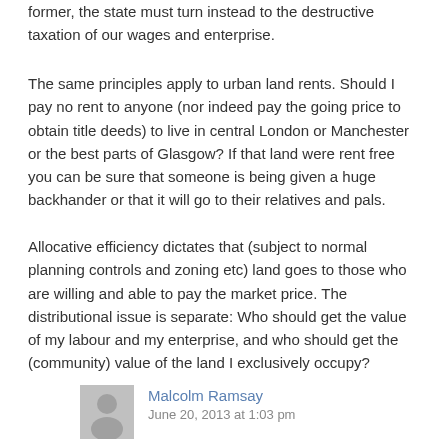former, the state must turn instead to the destructive taxation of our wages and enterprise.
The same principles apply to urban land rents. Should I pay no rent to anyone (nor indeed pay the going price to obtain title deeds) to live in central London or Manchester or the best parts of Glasgow? If that land were rent free you can be sure that someone is being given a huge backhander or that it will go to their relatives and pals.
Allocative efficiency dictates that (subject to normal planning controls and zoning etc) land goes to those who are willing and able to pay the market price. The distributional issue is separate: Who should get the value of my labour and my enterprise, and who should get the (community) value of the land I exclusively occupy?
Malcolm Ramsay
June 20, 2013 at 1:03 pm